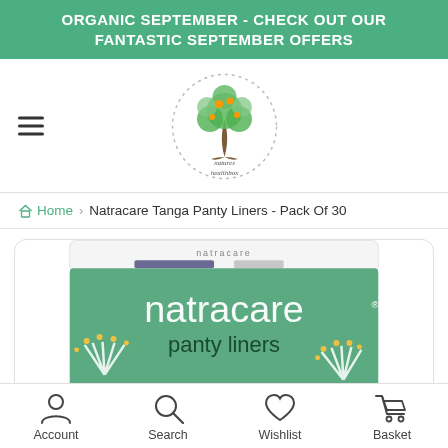ORGANIC SEPTEMBER - CHECK OUT OUR FANTASTIC SEPTEMBER OFFERS
[Figure (logo): Natures Healthbox logo: circular tree illustration with green and orange leaves, dots around circle, text 'natures healthbox' below]
Home › Natracare Tanga Panty Liners - Pack Of 30
[Figure (photo): Natracare panty liners product box — green box with white 'natracare' branding and 'panty liners' text, decorative white fan/flower motif with yellow dots at bottom]
Account  Search  Wishlist  Basket